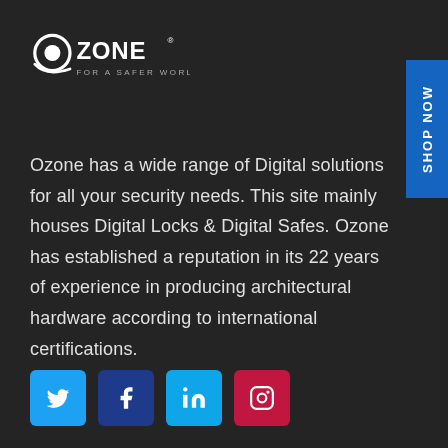[Figure (logo): Ozone logo with text 'FOR A SAFER WORLD' beneath it]
Ozone has a wide range of Digital solutions for all your security needs. This site mainly houses Digital Locks & Digital Safes. Ozone has established a reputation in its 22 years of experience in producing architectural hardware according to international certifications.
[Figure (other): Social media icons row: Twitter (blue), Facebook (dark blue), LinkedIn (light blue), Instagram (red/pink)]
Our Services
Digital Safes
Digital Locks